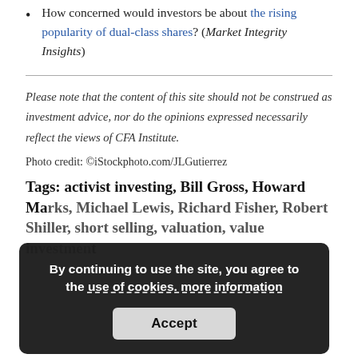How concerned would investors be about the rising popularity of dual-class shares? (Market Integrity Insights)
Please note that the content of this site should not be construed as investment advice, nor do the opinions expressed necessarily reflect the views of CFA Institute.
Photo credit: ©iStockphoto.com/JLGutierrez
Tags: activist investing, Bill Gross, Howard Marks, Michael Lewis, Richard Fisher, Robert Shiller, short selling, valuation, value investing
By continuing to use the site, you agree to the use of cookies. more information Accept